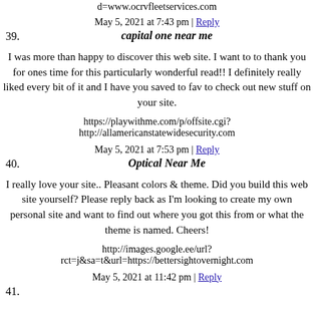d=www.ocrvfleetservices.com
May 5, 2021 at 7:43 pm | Reply
39. capital one near me
I was more than happy to discover this web site. I want to to thank you for ones time for this particularly wonderful read!! I definitely really liked every bit of it and I have you saved to fav to check out new stuff on your site.
https://playwithme.com/p/offsite.cgi?
http://allamericanstatewidesecurity.com
May 5, 2021 at 7:53 pm | Reply
40. Optical Near Me
I really love your site.. Pleasant colors & theme. Did you build this web site yourself? Please reply back as I'm looking to create my own personal site and want to find out where you got this from or what the theme is named. Cheers!
http://images.google.ee/url?
rct=j&sa=t&url=https://bettersightovernight.com
May 5, 2021 at 11:42 pm | Reply
41.